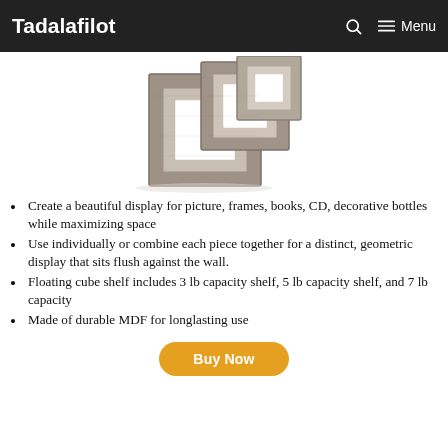Tadalafilot   Menu
[Figure (photo): Three nested square floating cube shelves made of grey/concrete-look MDF, stacked in descending size, viewed from a slight angle against white background.]
Create a beautiful display for picture, frames, books, CD, decorative bottles while maximizing space
Use individually or combine each piece together for a distinct, geometric display that sits flush against the wall.
Floating cube shelf includes 3 lb capacity shelf, 5 lb capacity shelf, and 7 lb capacity
Made of durable MDF for longlasting use
Buy Now